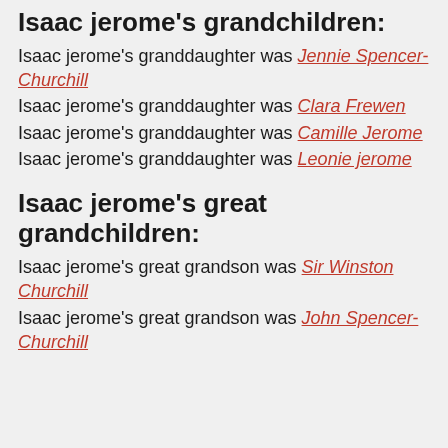Isaac jerome's grandchildren:
Isaac jerome's granddaughter was Jennie Spencer-Churchill
Isaac jerome's granddaughter was Clara Frewen
Isaac jerome's granddaughter was Camille Jerome
Isaac jerome's granddaughter was Leonie jerome
Isaac jerome's great grandchildren:
Isaac jerome's great grandson was Sir Winston Churchill
Isaac jerome's great grandson was John Spencer-Churchill